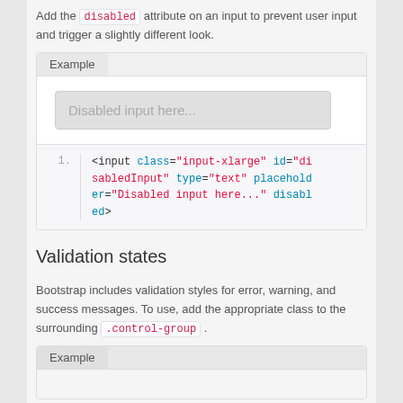Add the disabled attribute on an input to prevent user input and trigger a slightly different look.
[Figure (screenshot): Example box showing a disabled input field with placeholder text 'Disabled input here...' and code snippet below it]
Validation states
Bootstrap includes validation styles for error, warning, and success messages. To use, add the appropriate class to the surrounding .control-group .
[Figure (screenshot): Example box showing validation states example (partial, bottom of page)]